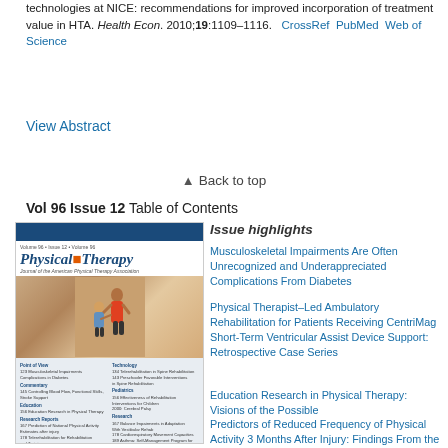technologies at NICE: recommendations for improved incorporation of treatment value in HTA. Health Econ. 2010;19:1109–1116.  CrossRef  PubMed  Web of Science
View Abstract
Back to top
Vol 96 Issue 12 Table of Contents
[Figure (illustration): Cover of Physical Therapy journal, Volume 96 Issue 12, showing the journal title in blue italic text with a figure of a physical therapist working with a patient, and table of contents listing on the lower portion.]
Issue highlights
Musculoskeletal Impairments Are Often Unrecognized and Underappreciated Complications From Diabetes
Physical Therapist–Led Ambulatory Rehabilitation for Patients Receiving CentriMag Short-Term Ventricular Assist Device Support: Retrospective Case Series
Education Research in Physical Therapy: Visions of the Possible
Predictors of Reduced Frequency of Physical Activity 3 Months After Injury: Findings From the Prospective Outcomes